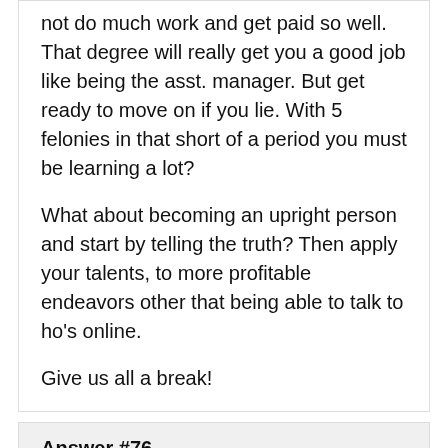not do much work and get paid so well. That degree will really get you a good job like being the asst. manager. But get ready to move on if you lie. With 5 felonies in that short of a period you must be learning a lot?

What about becoming an upright person and start by telling the truth? Then apply your talents, to more profitable endeavors other that being able to talk to ho's online.

Give us all a break!
Answer #76